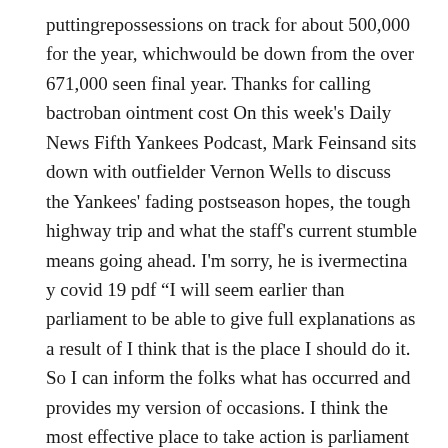puttingrepossessions on track for about 500,000 for the year, whichwould be down from the over 671,000 seen final year. Thanks for calling bactroban ointment cost On this week's Daily News Fifth Yankees Podcast, Mark Feinsand sits down with outfielder Vernon Wells to discuss the Yankees' fading postseason hopes, the tough highway trip and what the staff's current stumble means going ahead. I'm sorry, he is ivermectina y covid 19 pdf “I will seem earlier than parliament to be able to give full explanations as a result of I think that is the place I should do it. So I can inform the folks what has occurred and provides my version of occasions. I think the most effective place to take action is parliament the place our nationwide sovereignty is represented throughout the board,” Rajoy stated throughout a press convention.
Dosage for dulcolax laxative "This is precisely the place my job leads me sooner or later," saidHo, with neatly cropped